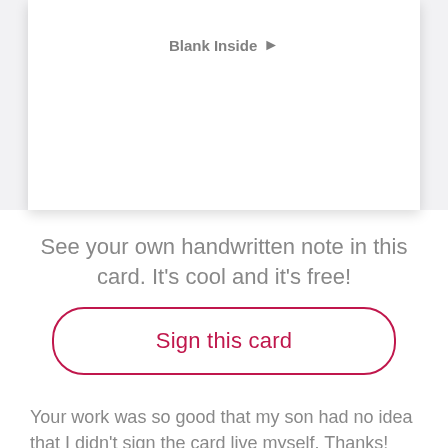[Figure (illustration): White greeting card with 'Blank Inside' label and arrow icon, shown with a drop shadow on a light gray background]
See your own handwritten note in this card. It's cool and it's free!
Sign this card
Your work was so good that my son had no idea that I didn't sign the card live myself. Thanks!